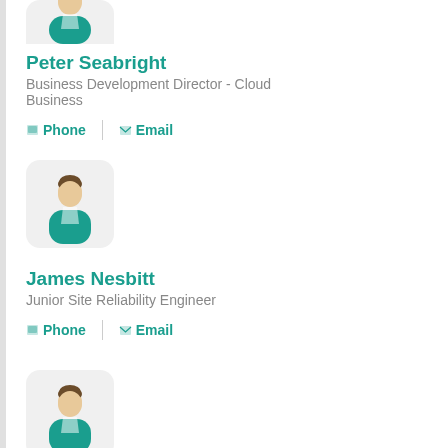[Figure (illustration): Avatar icon of a person with teal shirt, partially visible at top]
Peter Seabright
Business Development Director - Cloud Business
📞 Phone  |  📧 Email
[Figure (illustration): Avatar icon of a person with teal shirt in a rounded gray box]
James Nesbitt
Junior Site Reliability Engineer
📞 Phone  |  📧 Email
[Figure (illustration): Avatar icon of a person with teal shirt in a rounded gray box]